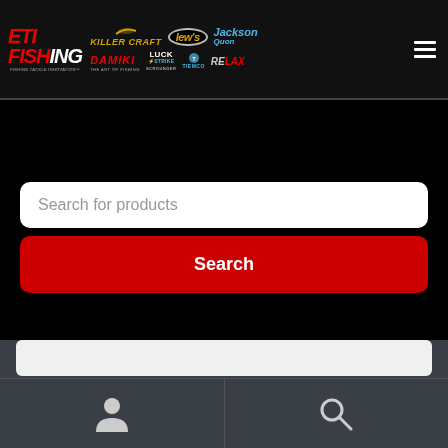[Figure (logo): ETI Fishing website header with multiple fishing brand logos: ETI Fishing, Killer Craft, Lew's, Jackson Quon, Damiki, Luck Strike Scrounger, Tiemco, Relax, and a hamburger menu icon]
Search for products
Search
[Figure (screenshot): Bottom navigation bar with a search input field, a person/user icon on the left half and a search/magnifying glass icon on the right half]